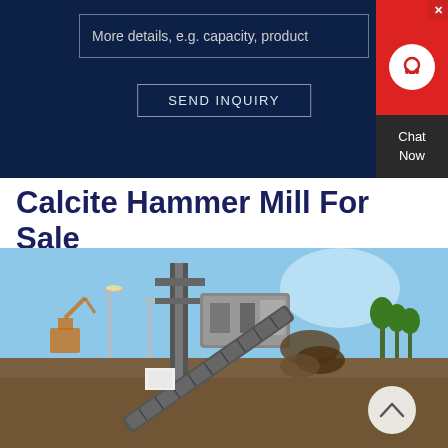[Figure (screenshot): Dark navy blue inquiry form section with a text input box showing placeholder text 'More details, e.g. capacity, product' and a 'SEND INQUIRY' button. A chat widget is visible on the right side with a red background, headset icon, and 'Chat Now' text on dark background.]
Calcite Hammer Mill For Sale
[Figure (photo): Outdoor industrial photo of a large hammer mill or crushing machine with a conveyor belt at an angle, set against a blue sky. Construction equipment and lighting poles visible in the background.]